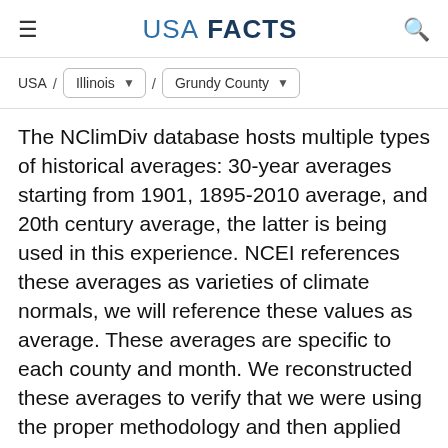USA FACTS
USA / Illinois / Grundy County
The NClimDiv database hosts multiple types of historical averages: 30-year averages starting from 1901, 1895-2010 average, and 20th century average, the latter is being used in this experience. NCEI references these averages as varieties of climate normals, we will reference these values as average. These averages are specific to each county and month. We reconstructed these averages to verify that we were using the proper methodology and then applied that methodology to the county-level monthly average dataset. This provided the average, which was subsequently used to calculate the standard deviation